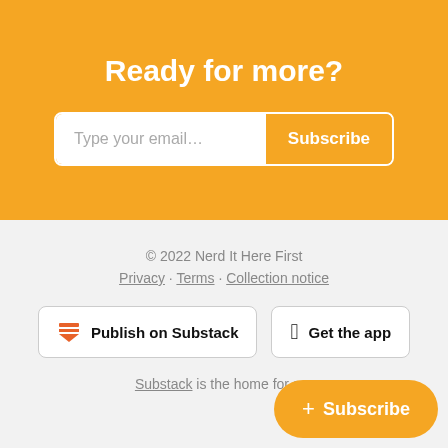Ready for more?
Type your email...
Subscribe
© 2022 Nerd It Here First
Privacy · Terms · Collection notice
Publish on Substack
Get the app
Substack is the home for gre
+ Subscribe